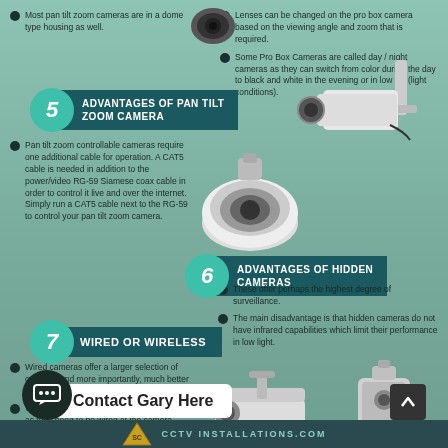Most pan tilt zoom cameras are in a dome type housing as well.
Lenses can be changed on the pro box camera based on the viewing angle and zoom that is required.
Some Pro Box Cameras are called day / night cameras as they can switch from color during the day to black and white in the evening or in low lux (light conditions).
5 ADVANTAGES OF PAN TILT ZOOM CAMERA
Pan tilt zoom controllable cameras require one additional cable for operation. A CAT5 cable is needed in addition to the power/video RG-59 Siamese coax cable in order to control it live and over the internet. Simply run a CAT5 cable next to the RG-59 to control your pan tilt zoom camera.
[Figure (photo): Pan tilt zoom dome camera (PTZ camera)]
[Figure (photo): Pro box camera mounted on wall bracket]
6 ADVANTAGES OF HIDDEN CAMERAS
These offer perhaps the highest degree of surveillance.
The main disadvantage is that hidden cameras do not have infrared capabilities which limit their performance in low light.
7 WIRED OR WIRELESS
Wired cameras offer a larger selection of cameras and more importantly, much better video quality
Wireless cameras can somewhat be misleading as they need to be wired at the camera location. In addition, they require a line of...
[Figure (photo): Outdoor bullet/box security camera]
[Figure (photo): Wireless hidden camera device]
Contact Gary Here
CCTV INSTALLATIONS.COM